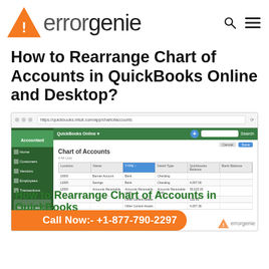errorgenie logo with search and menu icons
How to Rearrange Chart of Accounts in QuickBooks Online and Desktop?
[Figure (screenshot): Screenshot of QuickBooks Online Chart of Accounts page with overlay text 'How to Rearrange Chart of Accounts in QuickBooks' in green, errorgenie watermark bottom right, and orange call-now bar at bottom with phone number +1-877-790-2297]